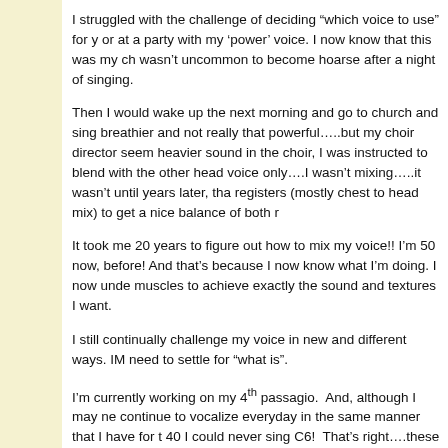I struggled with the challenge of deciding “which voice to use” for y or at a party with my ‘power’ voice. I now know that this was my ch wasn’t uncommon to become hoarse after a night of singing.
Then I would wake up the next morning and go to church and sing breathier and not really that powerful…..but my choir director seem heavier sound in the choir, I was instructed to blend with the other head voice only….I wasn’t mixing…..it wasn’t until years later, tha registers (mostly chest to head mix) to get a nice balance of both r
It took me 20 years to figure out how to mix my voice!! I’m 50 now, before! And that’s because I now know what I’m doing. I now unde muscles to achieve exactly the sound and textures I want.
I still continually challenge my voice in new and different ways. IM need to settle for “what is”.
I’m currently working on my 4th passagio.  And, although I may ne continue to vocalize everyday in the same manner that I have for t 40 I could never sing C6!  That’s right….these notes have transpir notes I’ll be squeezing out at age 60!